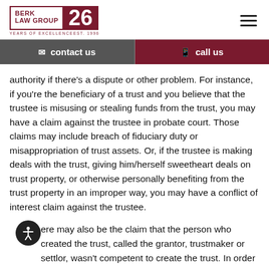Berk Law Group 26 Years of Excellence Est. 1996
contact us
call us
authority if there's a dispute or other problem. For instance, if you're the beneficiary of a trust and you believe that the trustee is misusing or stealing funds from the trust, you may have a claim against the trustee in probate court. Those claims may include breach of fiduciary duty or misappropriation of trust assets. Or, if the trustee is making deals with the trust, giving him/herself sweetheart deals on trust property, or otherwise personally benefiting from the trust property in an improper way, you may have a conflict of interest claim against the trustee.
There may also be the claim that the person who created the trust, called the grantor, trustmaker or settlor, wasn't competent to create the trust. In order to